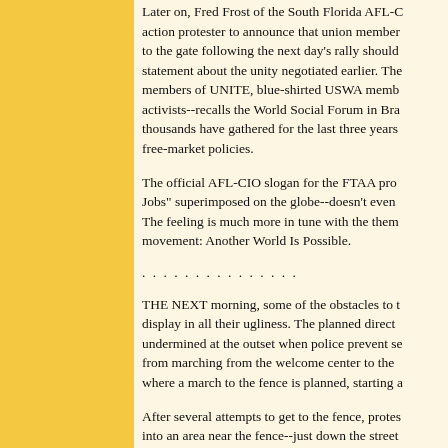Later on, Fred Frost of the South Florida AFL-C action protester to announce that union member to the gate following the next day's rally should statement about the unity negotiated earlier. The members of UNITE, blue-shirted USWA memb activists--recalls the World Social Forum in Bra thousands have gathered for the last three years free-market policies.
The official AFL-CIO slogan for the FTAA pro Jobs" superimposed on the globe--doesn't even The feeling is much more in tune with the them movement: Another World Is Possible.
. . . . . . . . . . . . . . .
THE NEXT morning, some of the obstacles to t display in all their ugliness. The planned direct undermined at the outset when police prevent se from marching from the welcome center to the where a march to the fence is planned, starting a
After several attempts to get to the fence, protes into an area near the fence--just down the street members are expected to march. A cop announ be permitted to stay in the area as long as they c